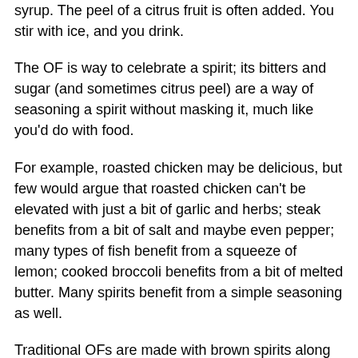syrup. The peel of a citrus fruit is often added. You stir with ice, and you drink.
The OF is way to celebrate a spirit; its bitters and sugar (and sometimes citrus peel) are a way of seasoning a spirit without masking it, much like you'd do with food.
For example, roasted chicken may be delicious, but few would argue that roasted chicken can't be elevated with just a bit of garlic and herbs; steak benefits from a bit of salt and maybe even pepper; many types of fish benefit from a squeeze of lemon; cooked broccoli benefits from a bit of melted butter. Many spirits benefit from a simple seasoning as well.
Traditional OFs are made with brown spirits along with Angostura aromatic bitters. When it comes to lighter spirits, there are plenty of bitters options as well, like the next two most popular types, orange bitters and Peychaud's bitters(which is a deep red bitters and tastes of muted anise). Other types include lemon, grapefruit, cherry, peach, rhubarb, celery, chocolate... and then there are interesting